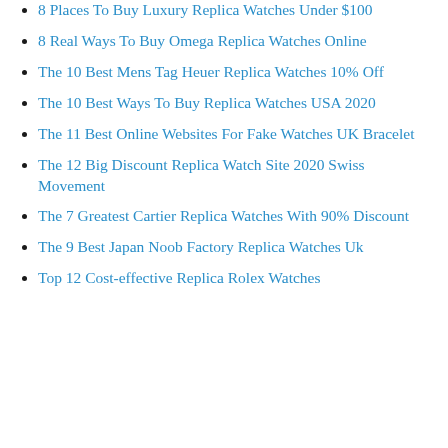8 Places To Buy Luxury Replica Watches Under $100
8 Real Ways To Buy Omega Replica Watches Online
The 10 Best Mens Tag Heuer Replica Watches 10% Off
The 10 Best Ways To Buy Replica Watches USA 2020
The 11 Best Online Websites For Fake Watches UK Bracelet
The 12 Big Discount Replica Watch Site 2020 Swiss Movement
The 7 Greatest Cartier Replica Watches With 90% Discount
The 9 Best Japan Noob Factory Replica Watches Uk
Top 12 Cost-effective Replica Rolex Watches